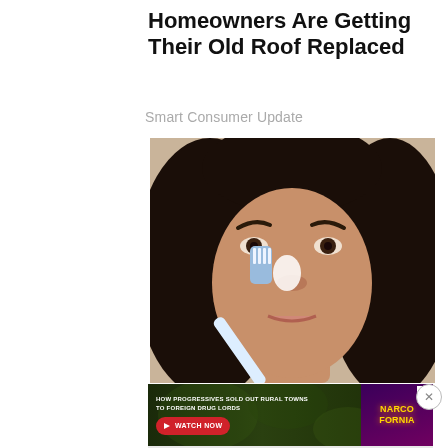Homeowners Are Getting Their Old Roof Replaced
Smart Consumer Update
[Figure (photo): A dark-haired woman applying something white (toothpaste or cream) to her nose with a toothbrush, close-up beauty/skincare photo]
Removing Moles & Skin Tags Has
Never Been This Easy
[Figure (screenshot): Advertisement banner: 'HOW PROGRESSIVES SOLD OUT RURAL TOWNS TO FOREIGN DRUG LORDS' with a red WATCH NOW button and NARCOFORNIA branding on a dark green cannabis leaf background]